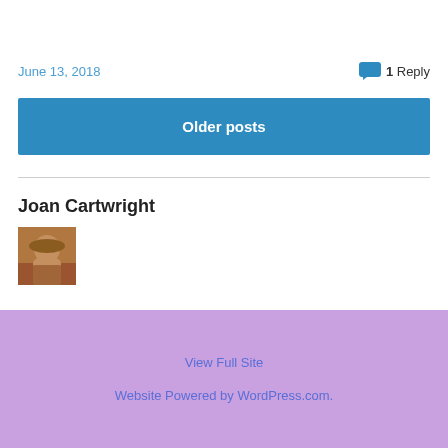June 13, 2018
1 Reply
Older posts
Joan Cartwright
[Figure (photo): Avatar/profile photo of Joan Cartwright, a woman wearing a hat, warm tones]
View Full Site
Website Powered by WordPress.com.